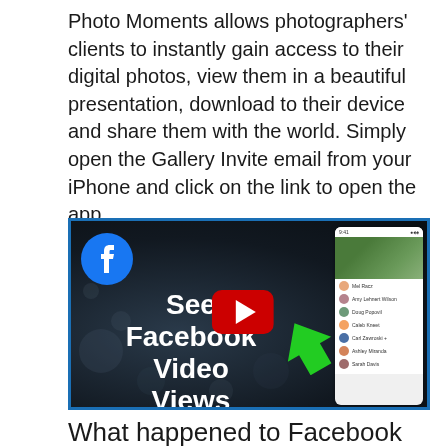Photo Moments allows photographers' clients to instantly gain access to their digital photos, view them in a beautiful presentation, download to their device and share them with the world. Simply open the Gallery Invite email from your iPhone and click on the link to open the app.
[Figure (screenshot): YouTube video thumbnail showing Facebook logo, text 'See Facebook Video Views', YouTube play button, and a phone mockup with a list of names on the right side.]
What happened to Facebook